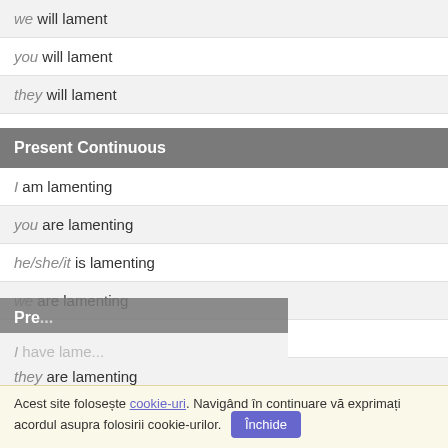we will lament
you will lament
they will lament
Present Continuous
I am lamenting
you are lamenting
he/she/it is lamenting
we are lamenting
you are lamenting
they are lamenting
Acest site folosește cookie-uri. Navigând în continuare vă exprimați acordul asupra folosirii cookie-urilor.